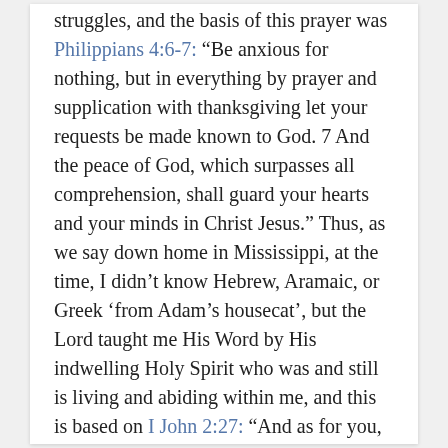struggles, and the basis of this prayer was Philippians 4:6-7: “Be anxious for nothing, but in everything by prayer and supplication with thanksgiving let your requests be made known to God. 7 And the peace of God, which surpasses all comprehension, shall guard your hearts and your minds in Christ Jesus.” Thus, as we say down home in Mississippi, at the time, I didn’t know Hebrew, Aramaic, or Greek ‘from Adam’s housecat’, but the Lord taught me His Word by His indwelling Holy Spirit who was and still is living and abiding within me, and this is based on I John 2:27: “And as for you, the anointing which you received from Him abides in you, and you have no need for